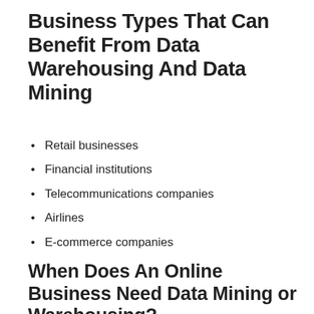Business Types That Can Benefit From Data Warehousing And Data Mining
Retail businesses
Financial institutions
Telecommunications companies
Airlines
E-commerce companies
When Does An Online Business Need Data Mining or Warehousing?
When a business just got started without data, this can wait. There will be a point when data mining and warehousing make more